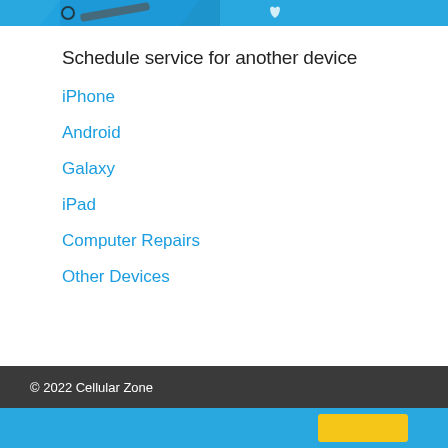[Figure (photo): Partial top image showing blue background with phone repair tools/icons]
Schedule service for another device
iPhone
Android
Galaxy
iPad
Computer Repairs
Other Devices
© 2022 Cellular Zone